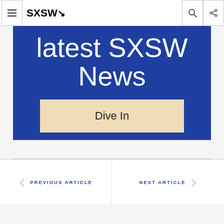SXSW
[Figure (screenshot): Blue banner with white text reading 'latest SXSW News' and a beige 'Dive In' button below]
PREVIOUS ARTICLE
NEXT ARTICLE